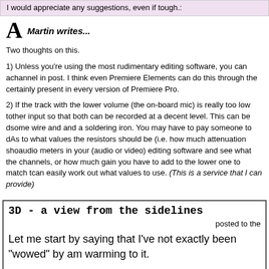I would appreciate any suggestions, even if tough.
A   Martin writes...
Two thoughts on this.
1) Unless you're using the most rudimentary editing software, you can adjust the level of each channel in post. I think even Premiere Elements can do this through the channel mixer. It is certainly present in every version of Premiere Pro.
2) If the track with the lower volume (the on-board mic) is really too low to match the other input so that both can be recorded at a decent level. This can be done with some wire and and a soldering iron. You may have to pay someone to do the soldering. As to what values the resistors should be (i.e. how much attenuation should be applied), use the audio meters in your (audio or video) editing software and see what the difference is between the channels, or how much gain you have to add to the lower one to match the higher — then you can easily work out what values to use. (This is a service that I can provide)
3D - a view from the sidelines
posted to the
Let me start by saying that I've not exactly been "wowed" by 3D, but am warming to it.
I've been helping one of customers, Ian Sandall of SPL, get his Adobe CS5 edit suite and 3D Vision Pro active-shutter glasses to be able to view the Premiere timeline in fu... It's been quite a learning curve, with both hardware and software issues and nigg...